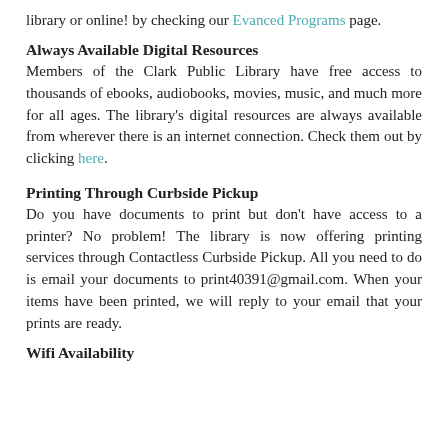library or online! by checking our Evanced Programs page.
Always Available Digital Resources
Members of the Clark Public Library have free access to thousands of ebooks, audiobooks, movies, music, and much more for all ages. The library's digital resources are always available from wherever there is an internet connection. Check them out by clicking here.
Printing Through Curbside Pickup
Do you have documents to print but don't have access to a printer? No problem! The library is now offering printing services through Contactless Curbside Pickup. All you need to do is email your documents to print40391@gmail.com. When your items have been printed, we will reply to your email that your prints are ready.
Wifi Availability